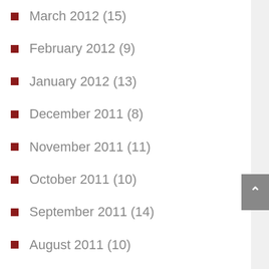March 2012 (15)
February 2012 (9)
January 2012 (13)
December 2011 (8)
November 2011 (11)
October 2011 (10)
September 2011 (14)
August 2011 (10)
July 2011 (9)
June 2011 (15)
May 2011 (12)
April 2011 (11)